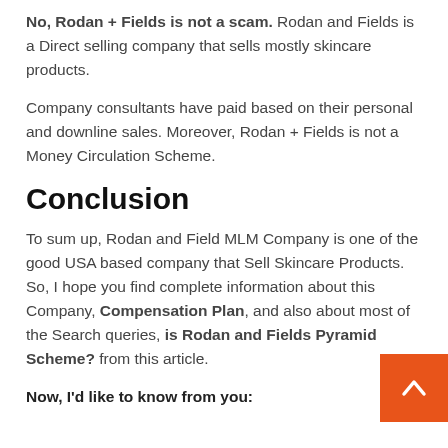No, Rodan + Fields is not a scam. Rodan and Fields is a Direct selling company that sells mostly skincare products.
Company consultants have paid based on their personal and downline sales. Moreover, Rodan + Fields is not a Money Circulation Scheme.
Conclusion
To sum up, Rodan and Field MLM Company is one of the good USA based company that Sell Skincare Products. So, I hope you find complete information about this Company, Compensation Plan, and also about most of the Search queries, is Rodan and Fields Pyramid Scheme? from this article.
Now, I'd like to know from you: